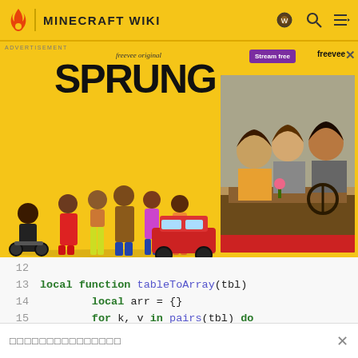MINECRAFT WIKI
[Figure (screenshot): Advertisement banner for 'SPRUNG' on Freevee original, showing cast of characters and a still from the show]
ADVERTISEMENT
Stream free   freevee   ×
12
13   local function tableToArray(tbl)
14       local arr = {}
15       for k, v in pairs(tbl) do
16           if type(k) == 'number' and v ~= '' then
17                   arr[k] = v
18           end
19       end
20       table.sort(arr)
□□□□□□□□□□□□□□□   ×